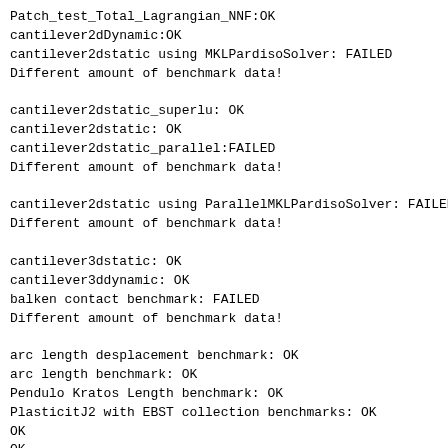Patch_test_Total_Lagrangian_NNF:OK
cantilever2dDynamic:OK
cantilever2dstatic using MKLPardisoSolver: FAILED
Different amount of benchmark data!

cantilever2dstatic_superlu: OK
cantilever2dstatic: OK
cantilever2dstatic_parallel:FAILED
Different amount of benchmark data!

cantilever2dstatic using ParallelMKLPardisoSolver: FAILED
Different amount of benchmark data!

cantilever3dstatic: OK
cantilever3ddynamic: OK
balken contact benchmark: FAILED
Different amount of benchmark data!

arc length desplacement benchmark: OK
arc length benchmark: OK
Pendulo Kratos Length benchmark: OK
PlasticitJ2 with EBST collection benchmarks: OK
OK
OK
OK
== Incompressible_Fluid ==========
naca3d test: OK
mass conservation test: OK
cavity2D: OK
OK
cavity3D: OK